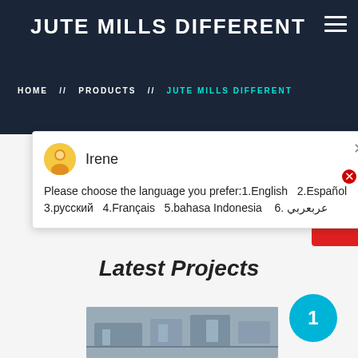JUTE MILLS DIFFERENT
HOME // PRODUCTS // JUTE MILLS DIFFERENT
Irene
Please choose the language you prefer:1.English  2.Español  3.русский  4.Français  5.bahasa Indonesia   6. عربعربي
Latest Projects
[Figure (photo): Industrial machinery/crusher equipment photo]
1